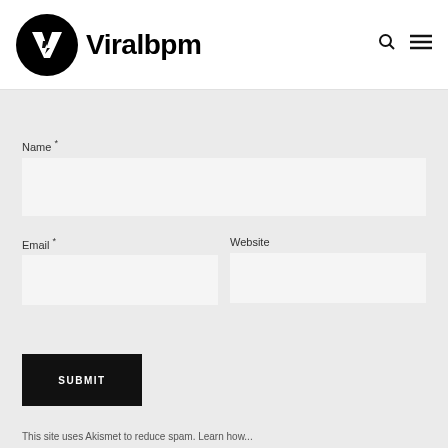[Figure (logo): Viralbpm logo: black circle with white V and lightning bolt mark, followed by bold text 'Viralbpm']
Name *
Email *
Website
SUBMIT
This site uses Akismet to reduce spam. Learn how...